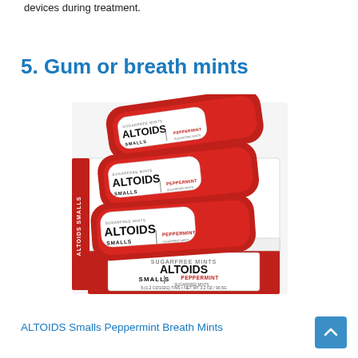devices during treatment.
5. Gum or breath mints
[Figure (photo): A box of Altoids Smalls Peppermint Breath Mints showing multiple small red tins stacked in a white and red retail display box.]
ALTOIDS Smalls Peppermint Breath Mints